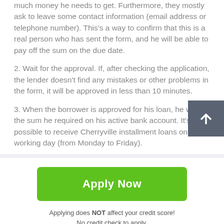much money he needs to get. Furthermore, they mostly ask to leave some contact information (email address or telephone number). This's a way to confirm that this is a real person who has sent the form, and he will be able to pay off the sum on the due date.
2. Wait for the approval. If, after checking the application, the lender doesn't find any mistakes or other problems in the form, it will be approved in less than 10 minutes.
3. When the borrower is approved for his loan, he will get the sum he required on his active bank account. It's possible to receive Cherryville installment loans on the working day (from Monday to Friday).
[Figure (other): Green 'Apply Now' button]
Applying does NOT affect your credit score!
No credit check to apply.